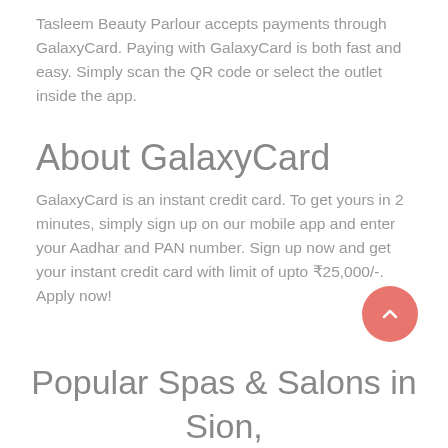Tasleem Beauty Parlour accepts payments through GalaxyCard. Paying with GalaxyCard is both fast and easy. Simply scan the QR code or select the outlet inside the app.
About GalaxyCard
GalaxyCard is an instant credit card. To get yours in 2 minutes, simply sign up on our mobile app and enter your Aadhar and PAN number. Sign up now and get your instant credit card with limit of upto ₹25,000/-. Apply now!
[Figure (other): Pink/salmon circular scroll-to-top button with upward chevron arrow]
Popular Spas & Salons in Sion,